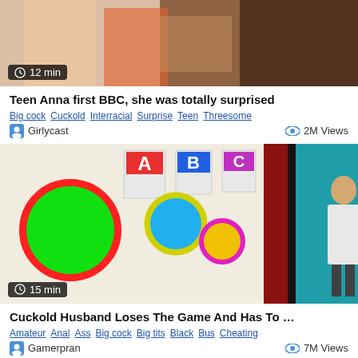[Figure (photo): Thumbnail image for video: Teen Anna first BBC, cropped showing people, duration badge 12 min]
Teen Anna first BBC, she was totally surprised
Big cock  Cuckold  Interracial  Surprise  Teen  Threesome
Girlycast   2M Views
[Figure (photo): Thumbnail image for animated/3D video: Cuckold Husband Loses The Game, showing 3D characters in game show set, duration badge 15 min]
Cuckold Husband Loses The Game And Has To …
Amateur  Anal  Ass  Big cock  Big tits  Black  Bus  Cheating
Gamerpran   7M Views
[Figure (photo): Partial thumbnail at bottom of page, dark background]